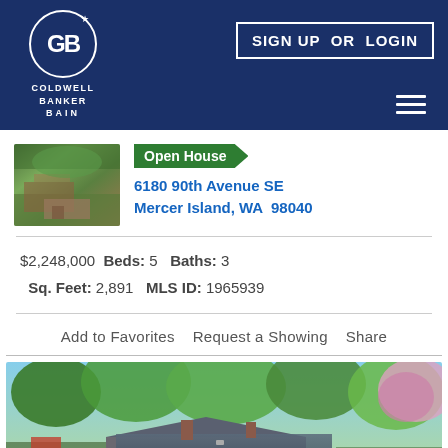COLDWELL BANKER BAIN
SIGN UP OR LOGIN
Open House
6180 90th Avenue SE
Mercer Island, WA  98040
$2,248,000  Beds: 5  Baths: 3
Sq. Feet: 2,891  MLS ID: 1965939
Add to Favorites   Request a Showing   Share
[Figure (photo): Aerial/street view of a house surrounded by trees on Mercer Island]
[Figure (photo): Rooftop view of home with lush green trees and blooming pink tree in background]